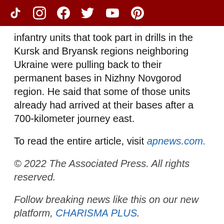[Social media icons: TikTok, Instagram, Facebook, Twitter, YouTube, Pinterest]
infantry units that took part in drills in the Kursk and Bryansk regions neighboring Ukraine were pulling back to their permanent bases in Nizhny Novgorod region. He said that some of those units already had arrived at their bases after a 700-kilometer journey east.
To read the entire article, visit apnews.com.
© 2022 The Associated Press. All rights reserved.
Follow breaking news like this on our new platform, CHARISMA PLUS.
Why Inflation is Just